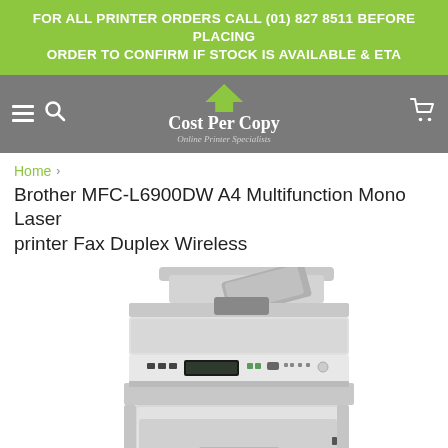FOR ALL PRINTER ORDERS CALL (01) 827 8511 BEFORE PLACING ORDER TO CONFIRM IF STOCK IS AVAILABLE & ETA
[Figure (logo): Cost Per Copy Online Printer Specialists logo with green arrow icon on grey navigation bar]
Home › Brother MFC-L6900DW A4 Multifunction Mono Laser printer Fax Duplex Wireless
Brother MFC-L6900DW A4 Multifunction Mono Laser printer Fax Duplex Wireless
[Figure (photo): Brother MFC-L6900DW multifunction mono laser printer - grey and white device with automatic document feeder on top, control panel with display, and paper tray at bottom]